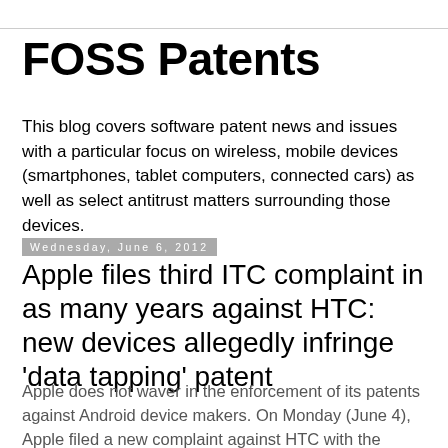FOSS Patents
This blog covers software patent news and issues with a particular focus on wireless, mobile devices (smartphones, tablet computers, connected cars) as well as select antitrust matters surrounding those devices.
Wednesday, June 6, 2012
Apple files third ITC complaint in as many years against HTC: new devices allegedly infringe 'data tapping' patent
Apple does not waver in the enforcement of its patents against Android device makers. On Monday (June 4), Apple filed a new complaint against HTC with the United States International Trade Commission ("ITC"). The ITC is a quasi-judicial U.S. government agency that has the authority to impose import bans against infringing goods.